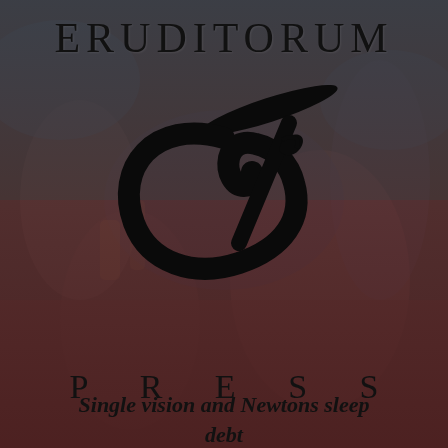[Figure (logo): Eruditorum Press logo page with background illustration of classical figures, overlaid with a dark teal/red gradient. Features the Eruditorum Press stylized 'EP' calligraphic logo in black, the word ERUDITORUM at top, PRESS in spaced letters below the logo, and the subtitle 'Single vision and Newtons sleep debt' at the bottom.]
ERUDITORUM
P R E S S
Single vision and Newtons sleep debt